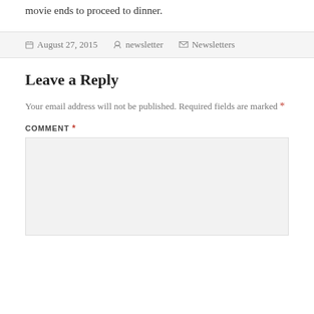movie ends to proceed to dinner.
August 27, 2015 | newsletter | Newsletters
Leave a Reply
Your email address will not be published. Required fields are marked *
COMMENT *